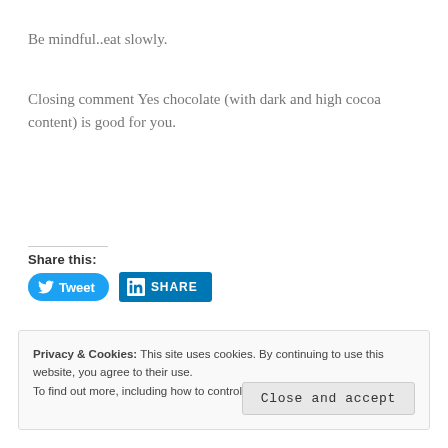Be mindful..eat slowly.
Closing comment Yes chocolate (with dark and high cocoa content) is good for you.
Share this:
[Figure (other): Tweet button (Twitter/X) and LinkedIn Share button]
Privacy & Cookies: This site uses cookies. By continuing to use this website, you agree to their use. To find out more, including how to control cookies, see here: Cookie Policy
Close and accept